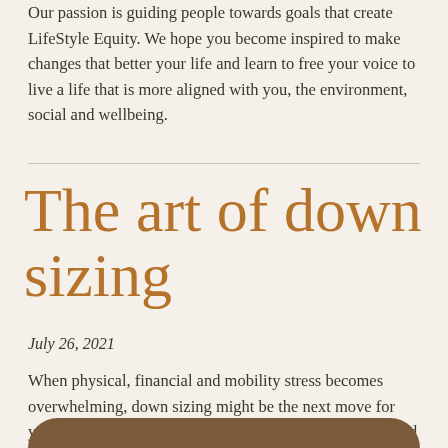Our passion is guiding people towards goals that create LifeStyle Equity. We hope you become inspired to make changes that better your life and learn to free your voice to live a life that is more aligned with you, the environment, social and wellbeing.
The art of down sizing
July 26, 2021
When physical, financial and mobility stress becomes overwhelming, down sizing might be the next move for you. LTD can guide you towards the next steps. Let go and let LTD help.